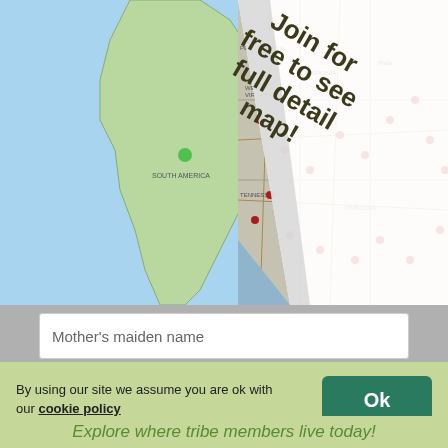[Figure (map): World map showing South America landmass in light green on blue ocean background, with a curling page-peel overlay in the upper right showing a US regional map with red dots and text 'Join for free to see full detail map!']
Mother's maiden name
Mother's mum's maiden name
Father's mum's maiden name
Add my surnames
By using our site we assume you are ok with our cookie policy
Ok
Explore where tribe members live today!